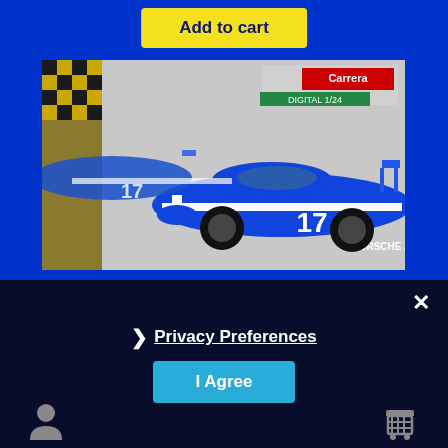Add to cart
[Figure (photo): Blue Porsche Audi #17 slot car (Carrera Digital 124) in packaging, showing two blue racing cars with white stripes and number 17 livery]
×
❯ Privacy Preferences
I Agree